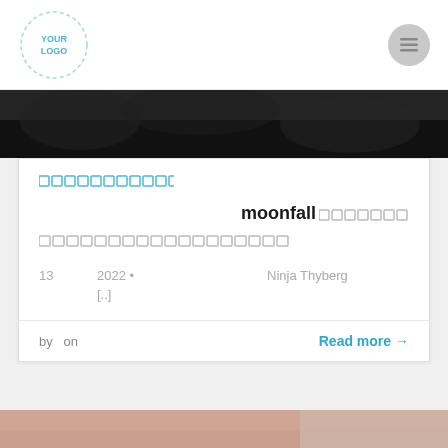[Figure (logo): Circular dashed border logo placeholder with text YOURLOGO in cyan/blue]
[Figure (photo): Dark image strip with dark shadowy background]
□□□□□□□□□□□□
moonfall□□□□□□□□
□□□□□□□□□□□□□□□□□□□□
13   2022 •   Ninja Thyberg
[..]
by  on
Read more →
[Figure (photo): Bottom partial image strip with warm tan/brown tones]